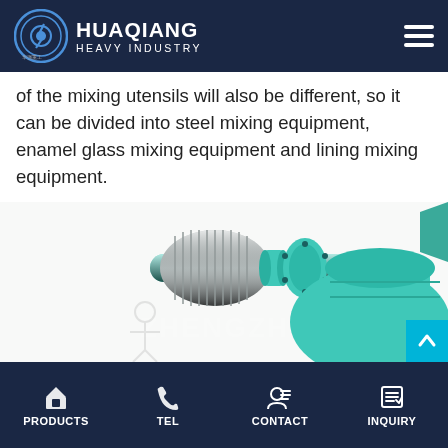HUAQIANG HEAVY INDUSTRY
of the mixing utensils will also be different, so it can be divided into steel mixing equipment, enamel glass mixing equipment and lining mixing equipment.
[Figure (photo): 3D rendering of a teal/green industrial mixing machine showing a motor and cylindrical drum assembly with bolted flanges, watermarked with 'ZHENGZH' text]
PRODUCTS | TEL | CONTACT | INQUIRY